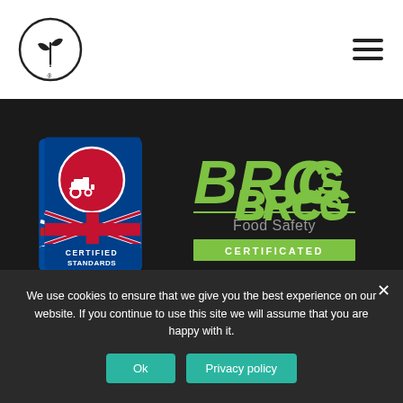[Figure (logo): Website header with circular plant logo on left and hamburger menu icon on right, white background]
[Figure (logo): Red Tractor Certified Standards badge - blue/red/white with tractor icon and Union Jack]
[Figure (logo): BRCGS Food Safety Certificated logo in green on dark background]
[Figure (logo): Carbon footprint logo - green footprint icon with 'carbon footprint' text in white on dark background]
[Figure (logo): M&S Food Select Farms - we know and trust - white text on dark background]
We use cookies to ensure that we give you the best experience on our website. If you continue to use this site we will assume that you are happy with it.
Ok
Privacy policy